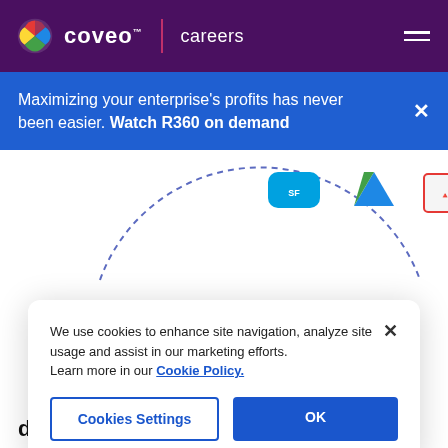coveo™ | careers
Maximizing your enterprise's profits has never been easier. Watch R360 on demand
[Figure (screenshot): Partial view of Coveo platform integration icons: Salesforce, Google Drive, Adobe PDF — shown as logos in a dashed arc arrangement]
We use cookies to enhance site navigation, analyze site usage and assist in our marketing efforts.
Learn more in our Cookie Policy.
Cookies Settings
OK
done it.